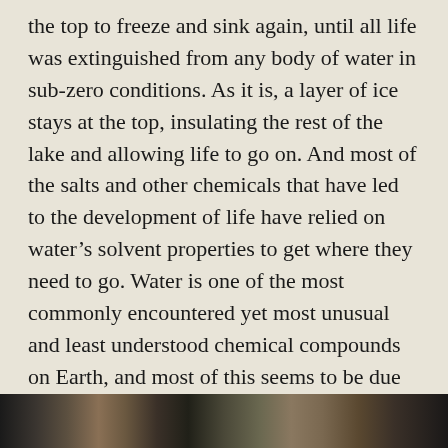the top to freeze and sink again, until all life was extinguished from any body of water in sub-zero conditions. As it is, a layer of ice stays at the top, insulating the rest of the lake and allowing life to go on. And most of the salts and other chemicals that have led to the development of life have relied on water’s solvent properties to get where they need to go. Water is one of the most commonly encountered yet most unusual and least understood chemical compounds on Earth, and most of this seems to be due to the strange properties of the hydrogen bond.’
[Figure (photo): A dark photographic strip at the bottom of the page, appearing to show a natural outdoor scene in muted tones.]